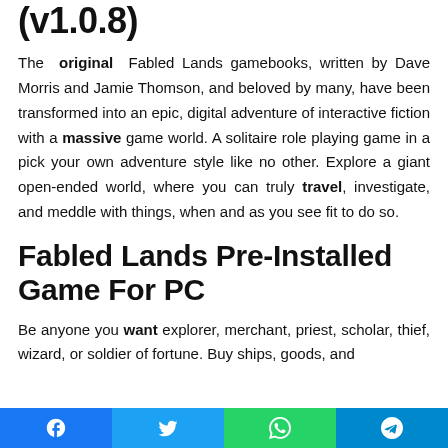(v1.0.8)
The original Fabled Lands gamebooks, written by Dave Morris and Jamie Thomson, and beloved by many, have been transformed into an epic, digital adventure of interactive fiction with a massive game world. A solitaire role playing game in a pick your own adventure style like no other. Explore a giant open-ended world, where you can truly travel, investigate, and meddle with things, when and as you see fit to do so.
Fabled Lands Pre-Installed Game For PC
Be anyone you want explorer, merchant, priest, scholar, thief, wizard, or soldier of fortune. Buy ships, goods, and
Facebook  Twitter  WhatsApp  Telegram